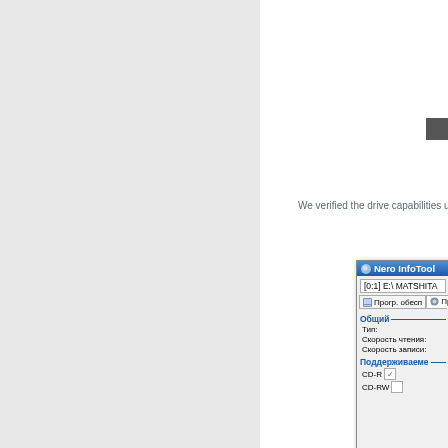[Figure (screenshot): Left panel with light gray background, partial page layout]
We verified the drive capabilities us
[Figure (screenshot): Nero InfoTool window showing drive [0:1] E:\ MATSHITA with tabs for Прогр. обесп and Привод. General section shows Тип, Скорость чтения, Скорость записи fields. Поддерживаемые section shows CD-R with checked checkbox and CD-RW partially visible.]